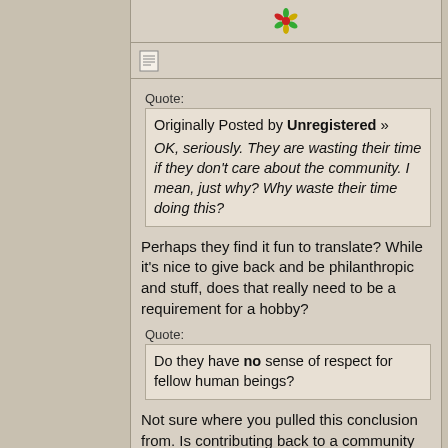[Figure (illustration): Decorative flower/snowflake icon at top center of post]
[Figure (illustration): Document/post icon in toolbar row]
Quote:
Originally Posted by Unregistered »
OK, seriously. They are wasting their time if they don't care about the community. I mean, just why? Why waste their time doing this?
Perhaps they find it fun to translate? While it's nice to give back and be philanthropic and stuff, does that really need to be a requirement for a hobby?
Quote:
Do they have no sense of respect for fellow human beings?
Not sure where you pulled this conclusion from. Is contributing back to a community while working on a hobby a requirement for being able to respect fellow human beings?
Quote:
THIS is what I'm talking about. Just general scorn and rudeness towards people. I don't care HOW great their works, THAT is uncalled for.